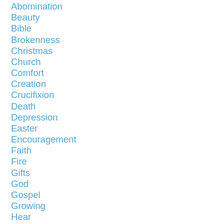Abomination
Beauty
Bible
Brokenness
Christmas
Church
Comfort
Creation
Crucifixion
Death
Depression
Easter
Encouragement
Faith
Fire
Gifts
God
Gospel
Growing
Hear
Heaven